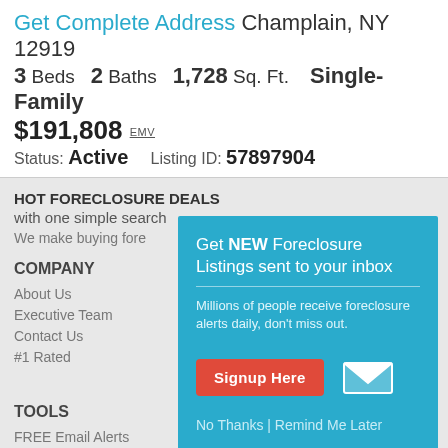Get Complete Address Champlain, NY 12919
3 Beds  2 Baths  1,728 Sq. Ft.  Single-Family
$191,808 EMV
Status: Active   Listing ID: 57897904
HOT FORECLOSURE DEALS with one simple search
We make buying fore...
COMPANY
About Us
Executive Team
Contact Us
#1 Rated
[Figure (infographic): Modal popup with teal background: 'Get NEW Foreclosure Listings sent to your inbox'. Includes subtext 'Millions of people receive foreclosure alerts daily, don’t miss out.', a red Signup Here button, an envelope icon, and 'No Thanks | Remind Me Later' link.]
TOOLS
FREE Email Alerts
Lost Access
PARTNER WITH US
Become an affiliate
Advertise on Foreclosure.com